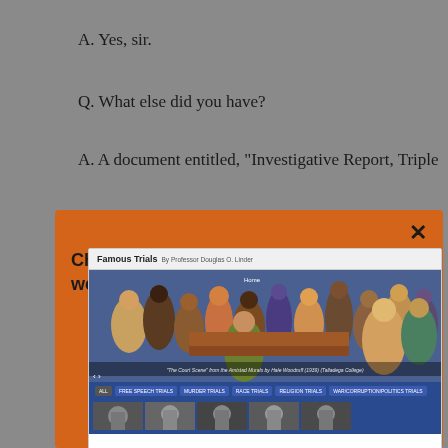A. Yes, sir.
Q. What else did you have?
A. A document entitled, "Investigative Report, Triple
[Figure (screenshot): Orange popup overlay promoting the Famous Trials website (www.famous-trials.com) with a screenshot preview of the website showing a courtroom mural image, navigation buttons (ALL, FREE SPEECH TRIALS, MURDER TRIALS, RACE TRIALS, RELIGION TRIALS, WAR/CORRUPTION/POLITICS TRIALS), and thumbnail images at the bottom. A close (×) button is in the top right.]